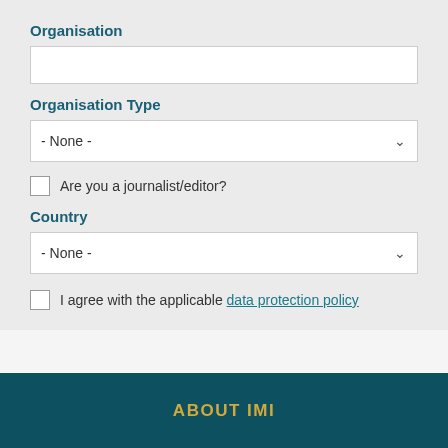Organisation
[text input field]
Organisation Type
- None - [dropdown]
Are you a journalist/editor?
Country
- None - [dropdown]
I agree with the applicable data protection policy
SUBSCRIBE
ABOUT IMI